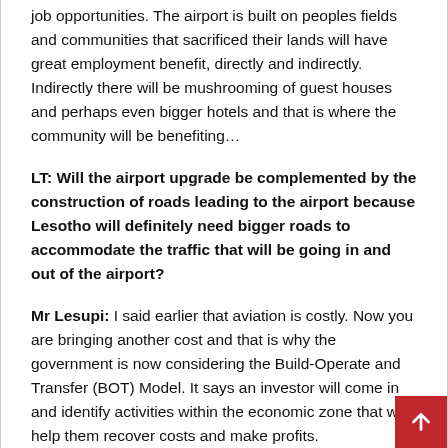job opportunities. The airport is built on peoples fields and communities that sacrificed their lands will have great employment benefit, directly and indirectly. Indirectly there will be mushrooming of guest houses and perhaps even bigger hotels and that is where the community will be benefiting…
LT: Will the airport upgrade be complemented by the construction of roads leading to the airport because Lesotho will definitely need bigger roads to accommodate the traffic that will be going in and out of the airport?
Mr Lesupi: I said earlier that aviation is costly. Now you are bringing another cost and that is why the government is now considering the Build-Operate and Transfer (BOT) Model. It says an investor will come in and identify activities within the economic zone that will help them recover costs and make profits.